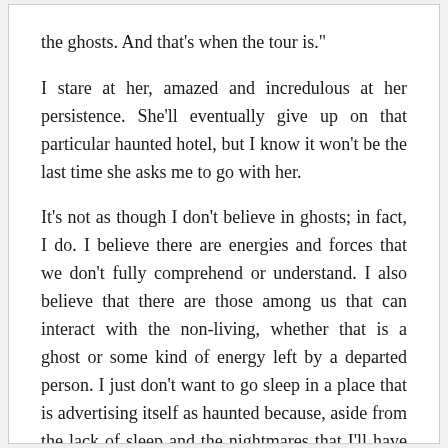the ghosts.  And that's when the tour is."

I stare at her, amazed and incredulous at her persistence.  She'll eventually give up on that particular haunted hotel, but I know it won't be the last time she asks me to go with her.

It's not as though I don't believe in ghosts; in fact, I do.  I believe there are energies and forces that we don't fully comprehend or understand.  I also believe that there are those among us that can interact with the non-living, whether that is a ghost or some kind of energy left by a departed person.  I just don't want to go sleep in a place that is advertising itself as haunted because, aside from the lack of sleep and the nightmares that I'll have for days after, I just don't want to be on the receiving